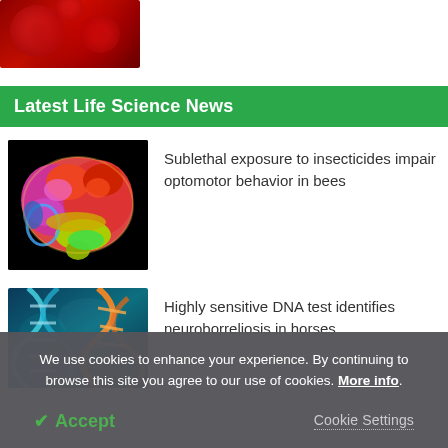[Figure (photo): Partial view of red virus/bacteria microscopy image at top of page]
Latest Life Science News
[Figure (photo): Colorful 3D rendered brain with glowing multicolored lobes on black background]
Sublethal exposure to insecticides impair optomotor behavior in bees
[Figure (photo): Close-up of DNA double helix with teal and orange coloring]
Highly sensitive DNA test identifies neuroborreliosis in horses
We use cookies to enhance your experience. By continuing to browse this site you agree to our use of cookies. More info.
Accept
Cookie Settings